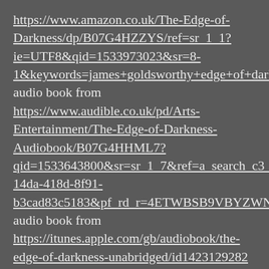https://www.amazon.co.uk/The-Edge-of-Darkness/dp/B07G4HZZYS/ref=sr_1_1?ie=UTF8&qid=1533973023&sr=8-1&keywords=james+goldsworthy+edge+of+darkness  Audible audio book from https://www.audible.co.uk/pd/Arts-Entertainment/The-Edge-of-Darkness-Audiobook/B07G4HHML7?qid=1533643800&sr=sr_1_7&ref=a_search_c3_lProduct_1_7&pf_rd_p=c6e316b8-14da-418d-8f91-b3cad83c5183&pf_rd_r=4ETWBSB9VBYZWNf7KZ6X&amp;  iTunes audio book from https://itunes.apple.com/gb/audiobook/the-edge-of-darkness-unabridged/id1423129282 #TheEdgeOfDarkness #Poetry #Poems